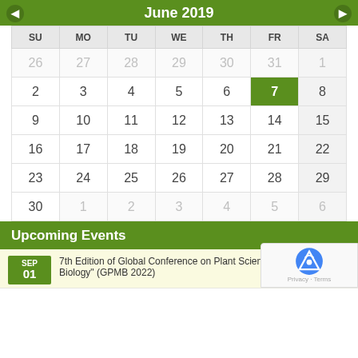June 2019
| SU | MO | TU | WE | TH | FR | SA |
| --- | --- | --- | --- | --- | --- | --- |
| 26 | 27 | 28 | 29 | 30 | 31 | 1 |
| 2 | 3 | 4 | 5 | 6 | 7 | 8 |
| 9 | 10 | 11 | 12 | 13 | 14 | 15 |
| 16 | 17 | 18 | 19 | 20 | 21 | 22 |
| 23 | 24 | 25 | 26 | 27 | 28 | 29 |
| 30 | 1 | 2 | 3 | 4 | 5 | 6 |
Upcoming Events
7th Edition of Global Conference on Plant Science and Molecular Biology" (GPMB 2022)
Sep 01